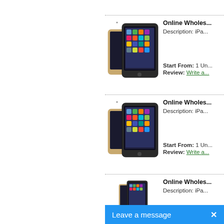[Figure (screenshot): Product listing 1 - iPad Air 2 wholesale listing with two iPad images (gold and space gray) shown together]
Online Wholes...
Description: iPa...
Start From: 1 Un...
Review: Write a...
[Figure (screenshot): Product listing 2 - iPad Air 2 wholesale listing with two iPad images (gold and space gray) shown together]
Online Wholes...
Description: iPa...
Start From: 1 Un...
Review: Write a...
[Figure (screenshot): Product listing 3 - iPad Air 2 wholesale listing with two iPad images (gold and space gray), partially visible]
Online Wholes...
Description: iPa...
Leave a message  ×